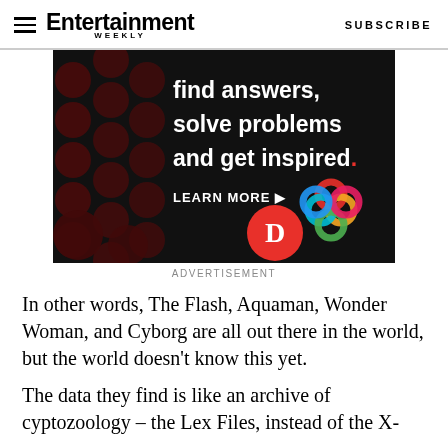Entertainment Weekly — SUBSCRIBE
[Figure (other): Advertisement banner with dark background and red/maroon dot pattern. Text reads: 'find answers, solve problems and get inspired. LEARN MORE' with Diablo and Procore logos.]
ADVERTISEMENT
In other words, The Flash, Aquaman, Wonder Woman, and Cyborg are all out there in the world, but the world doesn't know this yet.
The data they find is like an archive of cyptozoology – the Lex Files, instead of the X-